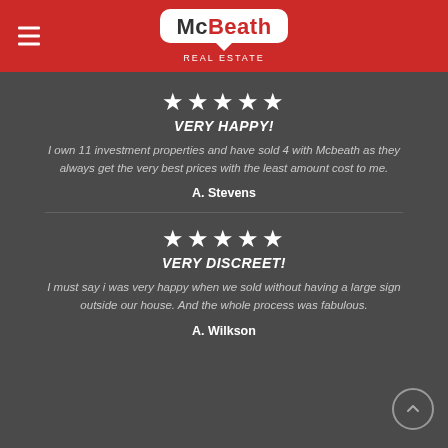[Figure (logo): McBeath Real Estate logo — white speech-bubble shape with 'McBeath' in bold dark text and 'Real Estate' below in white on red background]
★★★★★
VERY HAPPY!
I own 11 investment properties and have sold 4 with Mcbeath as they always get the very best prices with the least amount cost to me.
A. Stevens
★★★★★
VERY DISCREET!
I must say i was very happy when we sold without having a large sign outside our house. And the whole process was fabulous.
A. Wilkson